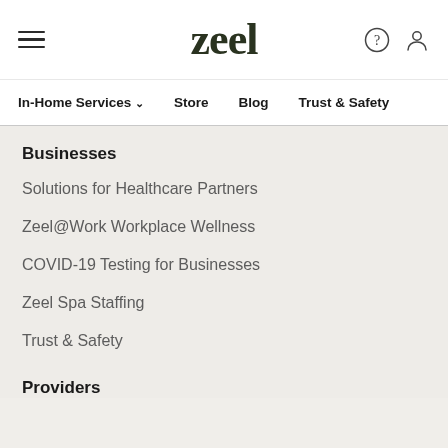zeel
In-Home Services ∨  Store  Blog  Trust & Safety
Businesses
Solutions for Healthcare Partners
Zeel@Work Workplace Wellness
COVID-19 Testing for Businesses
Zeel Spa Staffing
Trust & Safety
Providers